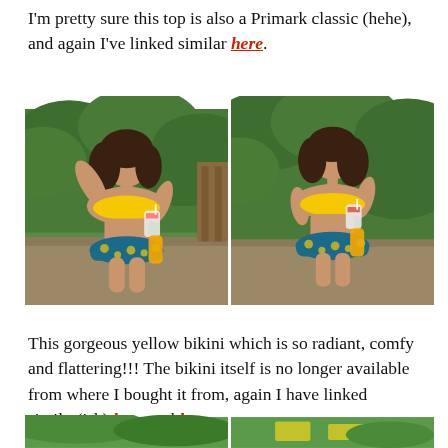I'm pretty sure this top is also a Primark classic (hehe), and again I've linked similar here.
[Figure (photo): Two side-by-side outdoor photos of a young woman wearing a yellow bandeau bikini top and blue floral bikini bottoms, holding a drink with a straw and an orange juice bottle, standing in front of green hedges/bushes.]
This gorgeous yellow bikini which is so radiant, comfy and flattering!!! The bikini itself is no longer available from where I bought it from, again I have linked similar(ish) here and here.
[Figure (photo): Two side-by-side photos at the bottom, partially visible, showing outdoor scenes with green trees and yellow flowers.]